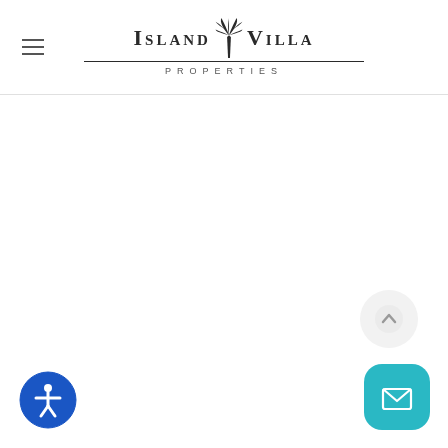Island Villa Properties
[Figure (logo): Island Villa Properties logo with palm tree icon, decorative horizontal line, and 'PROPERTIES' subtitle in spaced capitals]
[Figure (illustration): Scroll-to-top button: circular light gray button with upward arrow]
[Figure (illustration): Mail/contact button: teal rounded square button with envelope icon]
[Figure (illustration): Accessibility button: circular blue button with person/accessibility icon]